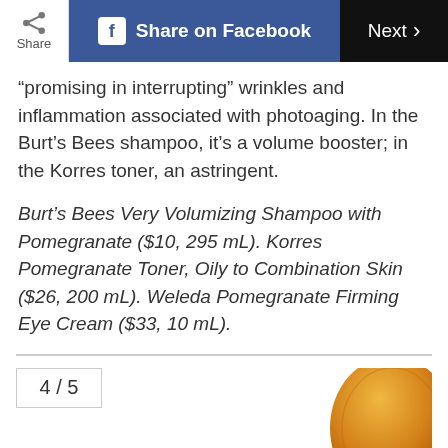Share on Facebook | Next >
“promising in interrupting” wrinkles and inflammation associated with photoaging. In the Burt’s Bees shampoo, it’s a volume booster; in the Korres toner, an astringent.
Burt’s Bees Very Volumizing Shampoo with Pomegranate ($10, 295 mL). Korres Pomegranate Toner, Oily to Combination Skin ($26, 200 mL). Weleda Pomegranate Firming Eye Cream ($33, 10 mL).
4 / 5
[Figure (photo): Partial view of a product bottle with an orange/amber colored cap, cropped at the bottom right of the page.]